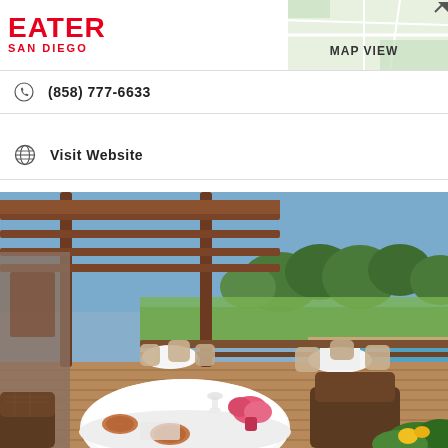EATER SAN DIEGO
(858) 777-6633
Visit Website
[Figure (photo): Outdoor patio dining area of an upscale restaurant featuring wicker chairs, white tablecloth-covered round tables set for dining with wine glasses and pink floral centerpieces, a wooden pergola overhead, pool visible in the background, and lush green trees and blue sky beyond.]